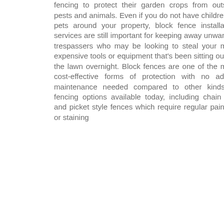fencing to protect their garden crops from outside pests and animals. Even if you do not have children or pets around your property, block fence installation services are still important for keeping away unwanted trespassers who may be looking to steal your most expensive tools or equipment that's been sitting out on the lawn overnight. Block fences are one of the most cost-effective forms of protection with no added maintenance needed compared to other kinds of fencing options available today, including chain link and picket style fences which require regular painting or staining